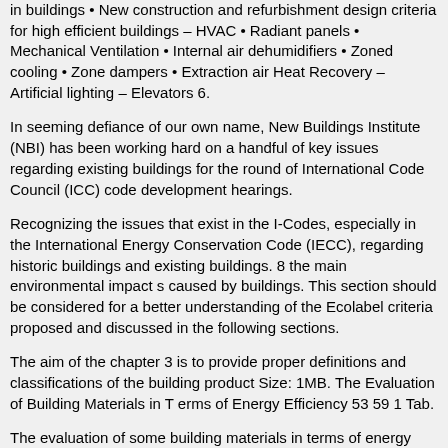in buildings • New construction and refurbishment design criteria for high efficient buildings – HVAC • Radiant panels • Mechanical Ventilation • Internal air dehumidifiers • Zoned cooling • Zone dampers • Extraction air Heat Recovery – Artificial lighting – Elevators 6.
In seeming defiance of our own name, New Buildings Institute (NBI) has been working hard on a handful of key issues regarding existing buildings for the round of International Code Council (ICC) code development hearings.
Recognizing the issues that exist in the I-Codes, especially in the International Energy Conservation Code (IECC), regarding historic buildings and existing buildings. 8 the main environmental impact s caused by buildings. This section should be considered for a better understanding of the Ecolabel criteria proposed and discussed in the following sections.
The aim of the chapter 3 is to provide proper definitions and classifications of the building product Size: 1MB. The Evaluation of Building Materials in T erms of Energy Efficiency 53 59 1 Tab.
The evaluation of some building materials in terms of energy efficiency. Energy Conservation Building Code for Residential